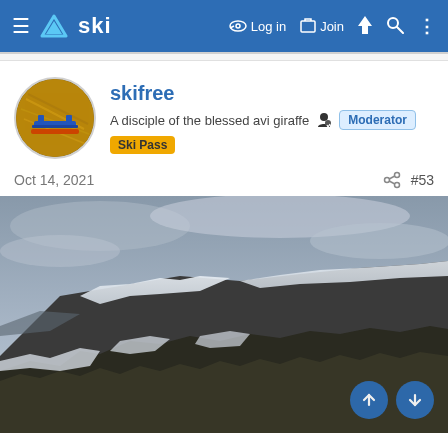≡ △ski  🔑 Log in  📋 Join  ⚡ 🔍 ⋮
[Figure (photo): Circular user avatar showing a blue wooden bench or frame object against a golden/brown background]
skifree
A disciple of the blessed avi giraffe 🧑‍💻 Moderator Ski Pass
Oct 14, 2021
#53
[Figure (photo): Snow-dusted mountain slope with dark rocky/shrubby terrain in the foreground and an overcast grey sky. The mountain ridge runs diagonally from lower left to upper right. Patches of snow visible on the slopes.]